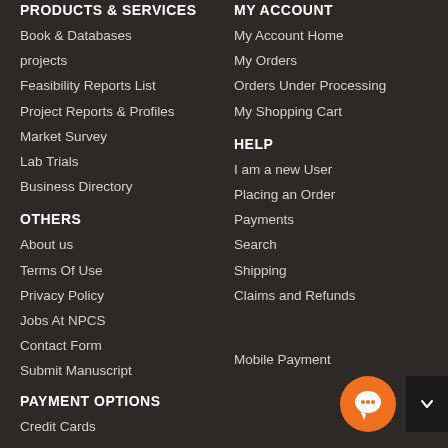PRODUCTS & SERVICES
Book & Databases
projects
Feasibility Reports List
Project Reports & Profiles
Market Survey
Lab Trials
Business Directory
MY ACCOUNT
My Account Home
My Orders
Orders Under Processing
My Shopping Cart
OTHERS
About us
Terms Of Use
Privacy Policy
Jobs At NPCS
Contact Form
Submit Manuscript
HELP
I am a new User
Placing an Order
Payments
Search
Shipping
Claims and Refunds
PAYMENT OPTIONS
Credit Cards
Mobile Payment